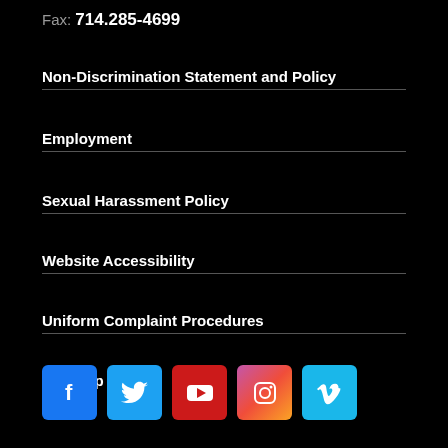Fax: 714.285-4699
Non-Discrimination Statement and Policy
Employment
Sexual Harassment Policy
Website Accessibility
Uniform Complaint Procedures
Site Map
[Figure (infographic): Row of 5 social media icons: Facebook (blue), Twitter (light blue), YouTube (red), Instagram (gradient pink-orange), Vimeo (teal)]